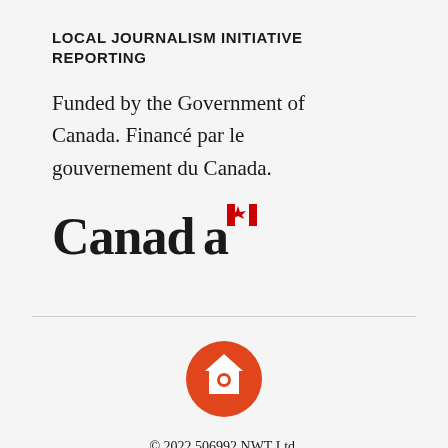LOCAL JOURNALISM INITIATIVE REPORTING
Funded by the Government of Canada. Financé par le gouvernement du Canada.
[Figure (logo): Canada wordmark logo with red maple leaf flag symbol]
[Figure (logo): Cabin Radio house/radio icon — orange circle with white house and radio wave icon]
© 2022 506992 NWT Ltd, operating as Cabin Radio. The second-biggest variety in the North.